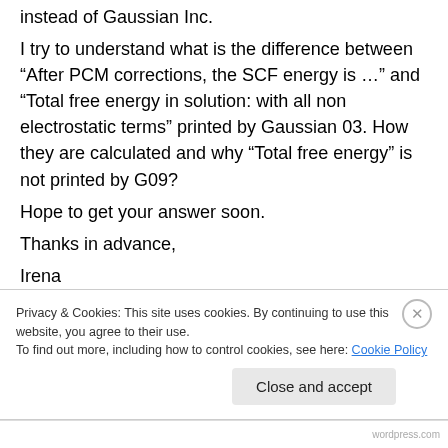instead of Gaussian Inc.

I try to understand what is the difference between “After PCM corrections, the SCF energy is …” and “Total free energy in solution: with all non electrostatic terms” printed by Gaussian 03. How they are calculated and why “Total free energy” is not printed by G09?

Hope to get your answer soon.

Thanks in advance,

Irena
Privacy & Cookies: This site uses cookies. By continuing to use this website, you agree to their use.
To find out more, including how to control cookies, see here: Cookie Policy
Close and accept